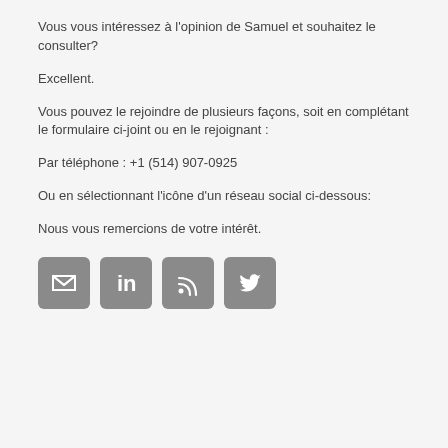Vous vous intéressez à l'opinion de Samuel et souhaitez le consulter?
Excellent.
Vous pouvez le rejoindre de plusieurs façons, soit en complétant le formulaire ci-joint ou en le rejoignant :
Par téléphone : +1 (514) 907-0925
Ou en sélectionnant l'icône d'un réseau social ci-dessous:
Nous vous remercions de votre intérêt.
[Figure (infographic): Four social media icon buttons: email, LinkedIn, RSS, Twitter]